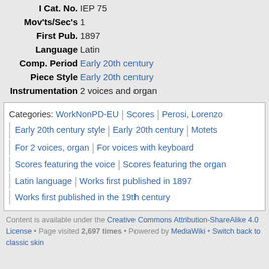| I Cat. No. | IEP 75 |
| Mov'ts/Sec's | 1 |
| First Pub. | 1897 |
| Language | Latin |
| Comp. Period | Early 20th century |
| Piece Style | Early 20th century |
| Instrumentation | 2 voices and organ |
Categories: WorkNonPD-EU | Scores | Perosi, Lorenzo | Early 20th century style | Early 20th century | Motets | For 2 voices, organ | For voices with keyboard | Scores featuring the voice | Scores featuring the organ | Latin language | Works first published in 1897 | Works first published in the 19th century
Content is available under the Creative Commons Attribution-ShareAlike 4.0 License • Page visited 2,697 times • Powered by MediaWiki • Switch back to classic skin